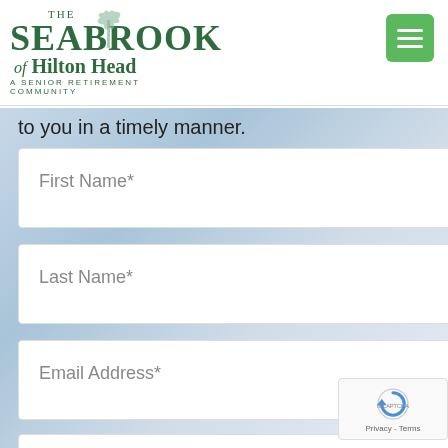[Figure (logo): The Seabrook of Hilton Head – A Senior Retirement Community logo with palm tree]
[Figure (other): Green hamburger menu button in top right corner]
to you in a timely manner.
First Name*
Last Name*
Email Address*
Phone Number*
[Figure (other): reCAPTCHA badge with Privacy and Terms links]